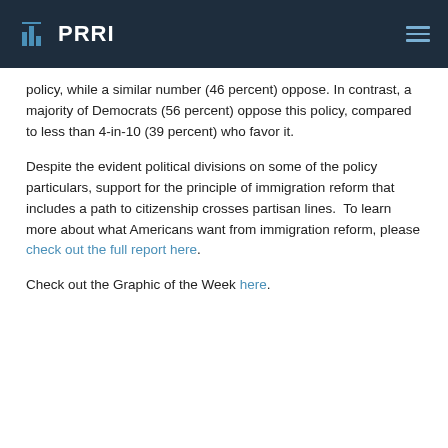PRRI
policy, while a similar number (46 percent) oppose. In contrast, a majority of Democrats (56 percent) oppose this policy, compared to less than 4-in-10 (39 percent) who favor it.
Despite the evident political divisions on some of the policy particulars, support for the principle of immigration reform that includes a path to citizenship crosses partisan lines. To learn more about what Americans want from immigration reform, please check out the full report here.
Check out the Graphic of the Week here.